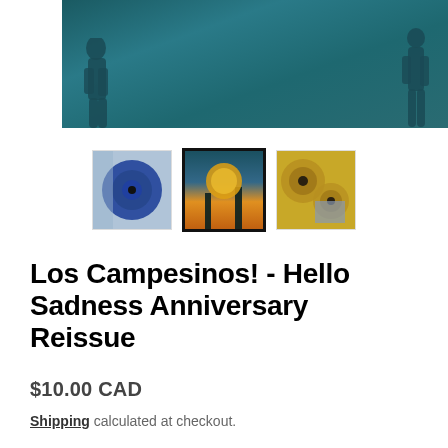[Figure (photo): Main product hero image: dark teal/blue-green background with silhouettes of two figures on left and right sides]
[Figure (photo): Thumbnail 1: Blue vinyl record with album art]
[Figure (photo): Thumbnail 2 (selected/active): Album cover showing sunset over trees in teal and orange tones]
[Figure (photo): Thumbnail 3: Gold/yellow vinyl records]
Los Campesinos! - Hello Sadness Anniversary Reissue
$10.00 CAD
Shipping calculated at checkout.